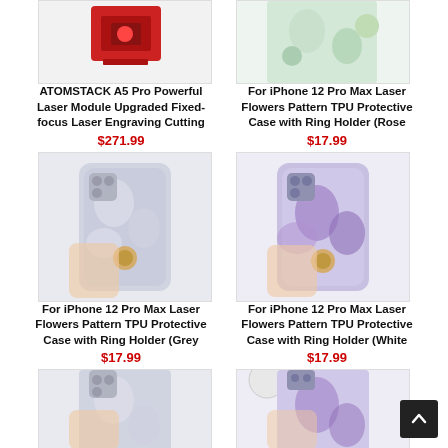[Figure (photo): ATOMSTACK A5 Pro laser engraver product image - red device on white background]
ATOMSTACK A5 Pro Powerful Laser Module Upgraded Fixed-focus Laser Engraving Cutting
$271.99
[Figure (photo): iPhone 12 Pro Max Rose flower pattern TPU case with ring holder]
For iPhone 12 Pro Max Laser Flowers Pattern TPU Protective Case with Ring Holder (Rose
$17.99
[Figure (photo): Hand holding iPhone 12 Pro Max Grey flower pattern TPU case with gold ring holder]
For iPhone 12 Pro Max Laser Flowers Pattern TPU Protective Case with Ring Holder (Grey
$17.99
[Figure (photo): Hand holding iPhone 12 Pro Max White/purple flower pattern TPU case with ring holder]
For iPhone 12 Pro Max Laser Flowers Pattern TPU Protective Case with Ring Holder (White
$17.99
[Figure (photo): Partial view of grey flower pattern iPhone case - bottom of page]
[Figure (photo): Partial view of purple flower pattern iPhone case - bottom of page]